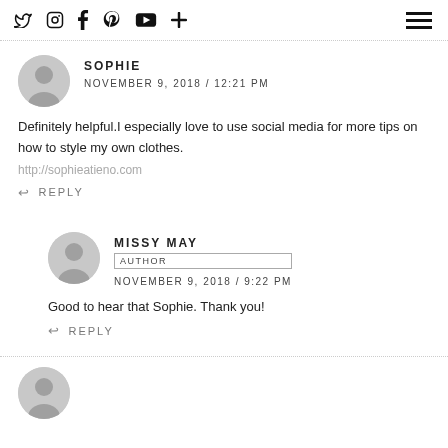Social icons: Twitter, Instagram, Facebook, Pinterest, YouTube, Plus | Hamburger menu
↩ REPLY
SOPHIE
NOVEMBER 9, 2018 / 12:21 PM
Definitely helpful.I especially love to use social media for more tips on how to style my own clothes.
http://sophieatieno.com
↩ REPLY
MISSY MAY
AUTHOR
NOVEMBER 9, 2018 / 9:22 PM
Good to hear that Sophie. Thank you!
↩ REPLY